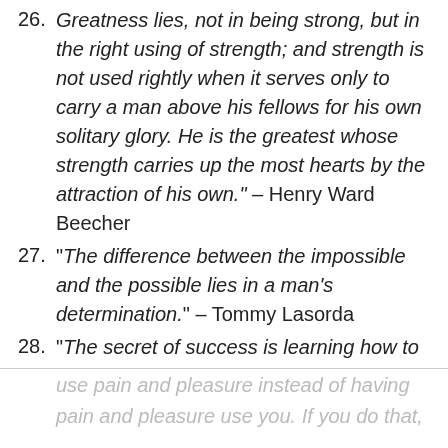26. "Greatness lies, not in being strong, but in the right using of strength; and strength is not used rightly when it serves only to carry a man above his fellows for his own solitary glory. He is the greatest whose strength carries up the most hearts by the attraction of his own." – Henry Ward Beecher
27. "The difference between the impossible and the possible lies in a man's determination." – Tommy Lasorda
28. "The secret of success is learning how to use pain and pleasure instead of having pain and pleasure use you. If you do that,